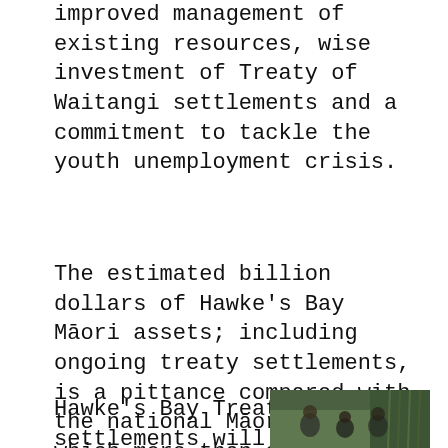improved management of existing resources, wise investment of Treaty of Waitangi settlements and a commitment to tackle the youth unemployment crisis.
The estimated billion dollars of Hawke's Bay Māori assets; including ongoing treaty settlements, is a pittance compared with the national Māori economy, which more than doubled between 2007 and 2011 to $36.9 billion, according to Business and Economic Research Limited (BERL).
Hawke's Bay Treaty settlements will
[Figure (photo): Photo of people, likely at a community or treaty-related event, with green background suggesting traditional decoration or foliage.]